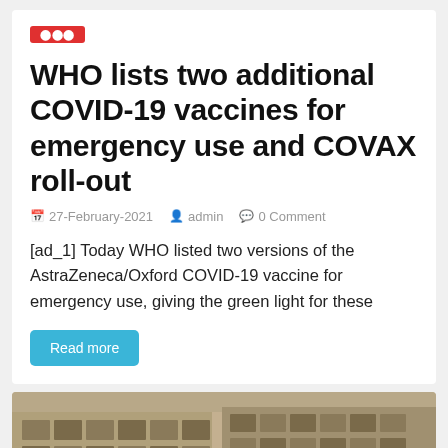WHO lists two additional COVID-19 vaccines for emergency use and COVAX roll-out
27-February-2021  admin  0 Comment
[ad_1] Today WHO listed two versions of the AstraZeneca/Oxford COVID-19 vaccine for emergency use, giving the green light for these
Read more
[Figure (photo): Outdoor photo of people near a building with wooden/stone facade, with a teal scroll-to-top button overlay]